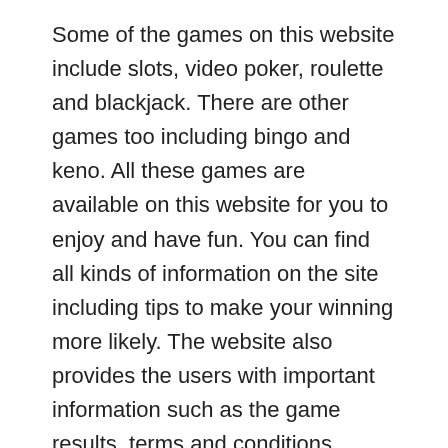Some of the games on this website include slots, video poker, roulette and blackjack. There are other games too including bingo and keno. All these games are available on this website for you to enjoy and have fun. You can find all kinds of information on the site including tips to make your winning more likely. The website also provides the users with important information such as the game results, terms and conditions, payout details and so many other things. All you need to do to start playing is to click the ‘play now’ button on the homepage.
The Canadian slot machine is a favorite for all kinds of gamblers, Canadian Casino Free Spins Reactor regardless of whether they are from Canada or from the United States. People from Canada enjoy playing this kind of casino because it offers them an interesting gaming experience unlike any other casino they might have